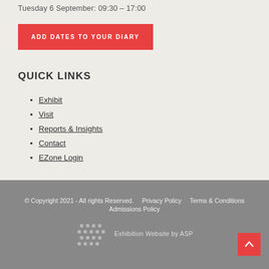Tuesday 6 September: 09:30 – 17:00
ADD DATES TO YOUR DIARY
QUICK LINKS
Exhibit
Visit
Reports & Insights
Contact
EZone Login
© Copyright 2021 - All rights Reserved.    Privacy Policy    Terms & Conditions    Admissions Policy    Exhibition Website by ASP